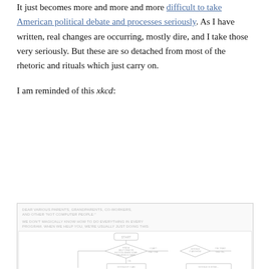It just becomes more and more and more difficult to take American political debate and processes seriously. As I have written, real changes are occurring, mostly dire, and I take those very seriously. But these are so detached from most of the rhetoric and rituals which just carry on.
I am reminded of this xkcd:
[Figure (flowchart): An xkcd comic flowchart titled 'START' showing a decision tree for helping non-computer people with tech issues. Text at top reads 'DEAR VARIOUS PARENTS, GRANDPARENTS, CO-WORKERS, AND OTHER NOT COMPUTER PEOPLE:' and 'WE DON'T MAGICALLY KNOW HOW TO DO EVERYTHING IN EVERY PROGRAM. WHEN WE HELP YOU, WE'RE USUALLY JUST DOING THIS:'. The flowchart shows a diamond decision box in the center with paths branching out.]